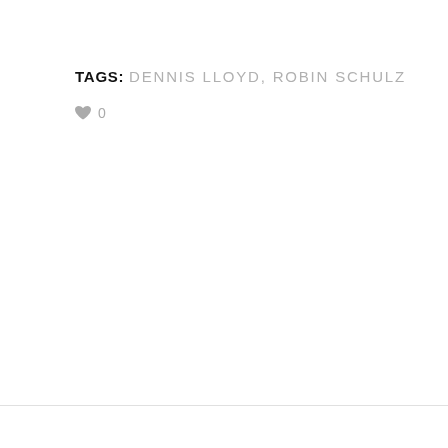TAGS: DENNIS LLOYD, ROBIN SCHULZ
♥ 0